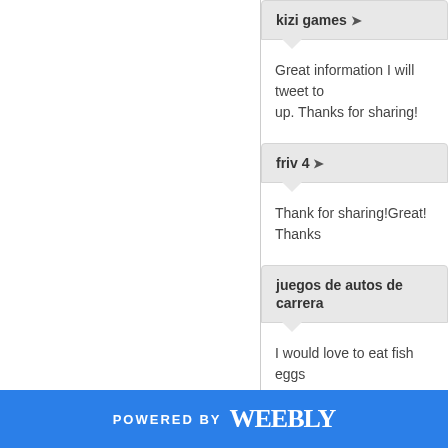kizi games →
Great information I will tweet to up. Thanks for sharing!
friv 4 →
Thank for sharing!Great! Thanks
juegos de autos de carrera
I would love to eat fish eggs
jogos friv →
Looks like a fried shrimp so
POWERED BY weebly